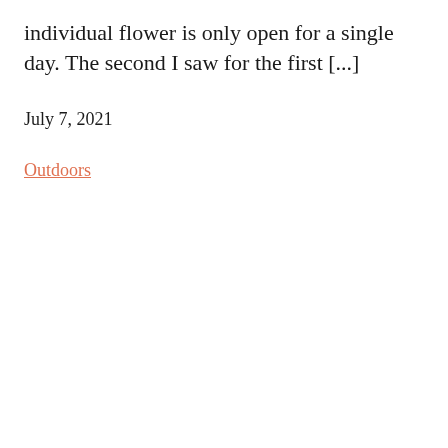individual flower is only open for a single day. The second I saw for the first [...]
July 7, 2021
Outdoors